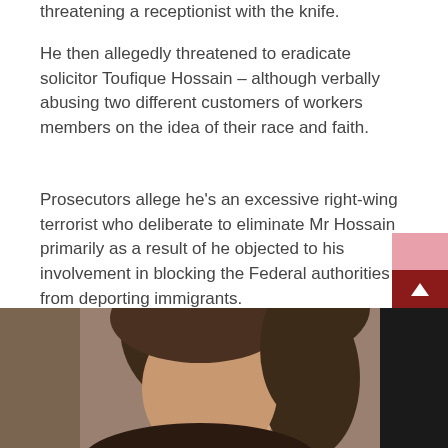threatening a receptionist with the knife.
He then allegedly threatened to eradicate solicitor Toufique Hossain – although verbally abusing two different customers of workers members on the idea of their race and faith.
Prosecutors allege he's an excessive right-wing terrorist who deliberate to eliminate Mr Hossain primarily as a result of he objected to his involvement in blocking the Federal authorities from deporting immigrants.
On Wednesday, Mr Medlock, from Harrow, appeared on the Aged Bailey to enter pleas to six charges towards him.
[Figure (photo): Photo of a person with brown hair, partial face visible, indoors with blurred background]